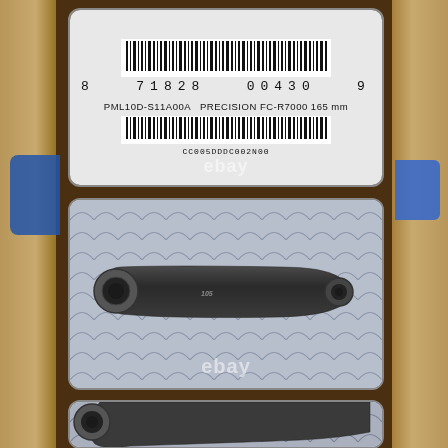[Figure (photo): Product barcode label showing barcode, number 8 71828 00430 9, product code PML10D-S11A00A PRECISION FC-R7000 165 mm, second barcode, and serial CC005DDDC002N00, with ebay watermark]
[Figure (photo): Close-up photo of a Shimano FC-R7000 bicycle crank arm in dark grey/black color on a patterned blue-grey fabric background, with ebay watermark]
[Figure (photo): Partial close-up photo of crank arm end showing the spindle attachment hole, on same patterned fabric background]